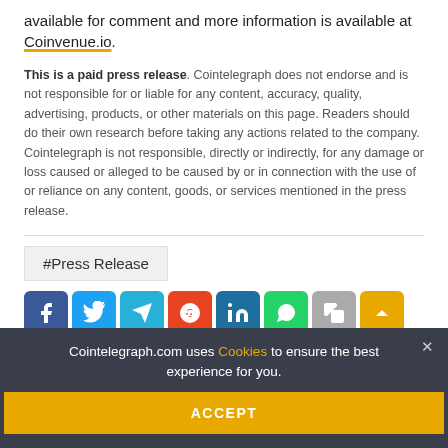available for comment and more information is available at Coinvenue.io.
This is a paid press release. Cointelegraph does not endorse and is not responsible for or liable for any content, accuracy, quality, advertising, products, or other materials on this page. Readers should do their own research before taking any actions related to the company. Cointelegraph is not responsible, directly or indirectly, for any damage or loss caused or alleged to be caused by or in connection with the use of or reliance on any content, goods, or services mentioned in the press release.
#Press Release
[Figure (infographic): Social sharing buttons: Facebook, Twitter, Telegram, Reddit, LinkedIn, WhatsApp, Copy, Scroll-up]
RELATED NEWS
How to get a job in the Metaverse and
Cointelegraph.com uses Cookies to ensure the best experience for you.
ACCEPT